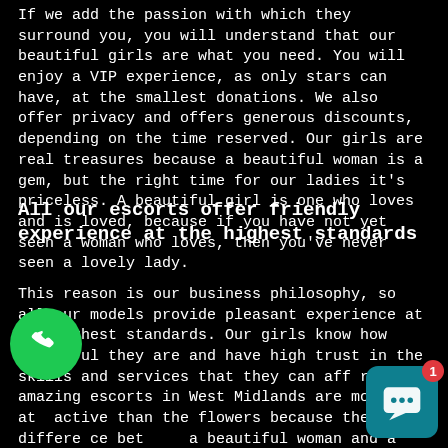If we add the passion with which they surround you, you will understand that our beautiful girls are what you need. You will enjoy a VIP experience, as only stars can have, at the smallest donations. We also offer privacy and offers generous discounts, depending on the time reserved. Our girls are real treasures because a beautiful woman is a gem, but the right time for our ladies it's priceless. A beautiful girl is one who loves and is loved, because if you have not yet seen a woman who loves, then you've never seen a lovely lady.
All our escorts offer friendly experience at the highest standards
This reason is our business philosophy, so all our models provide pleasant experience at the highest standards. Our girls know how beautiful they are and have high trust in the skills and services that they can afford. Our amazing escorts in West Midlands are more attractive than the flowers because the difference between a beautiful woman and a rose is that the woman is aware of her beauty. Our ladies do not want